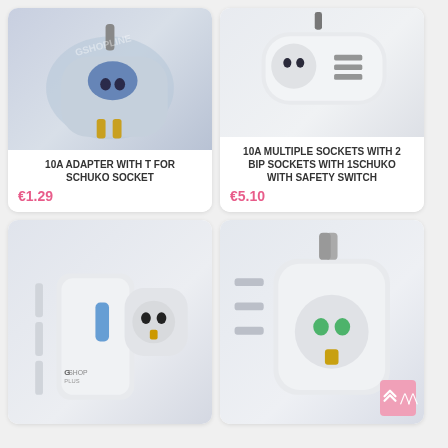[Figure (photo): 10A adapter with T for Schuko socket - white and light blue electrical plug adapter with gold prongs]
10A ADAPTER WITH T FOR SCHUKO SOCKET
€1.29
[Figure (photo): 10A multiple sockets with 2 BIP sockets with 1 Schuko with safety switch - white elongated power strip adapter]
10A MULTIPLE SOCKETS WITH 2 BIP SOCKETS WITH 1SCHUKO WITH SAFETY SWITCH
€5.10
[Figure (photo): White electrical adapter with blue indicator light and Schuko socket, G-Shop branding]
[Figure (photo): White multi-plug adapter with green safety contacts and Schuko socket]